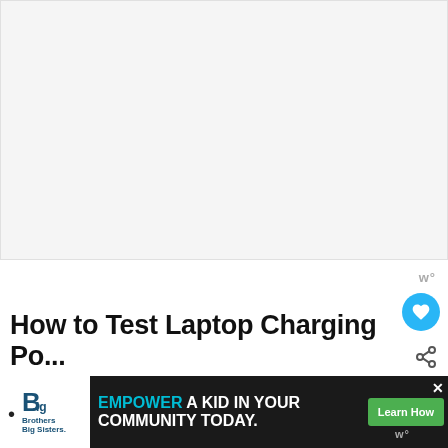[Figure (photo): Large blank/white image area at top of page, placeholder for article image]
How to Test Laptop Charging Po...
You may face the following situations if y... has a hard time to charge up;
[Figure (infographic): WHAT'S NEXT callout showing thumbnail of hands on laptop keyboard and text 'How to Fix a Blinking...']
[Figure (infographic): Advertisement banner: Big Brothers Big Sisters logo, text 'EMPOWER A KID IN YOUR COMMUNITY TODAY.' with green Learn How button and close X]